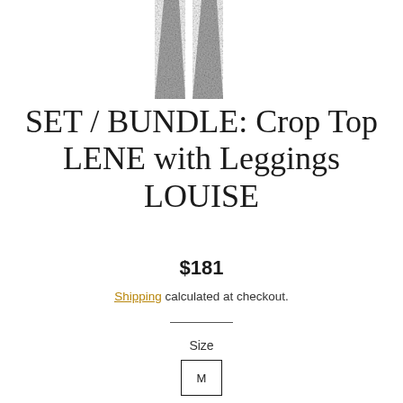[Figure (photo): Partial product photo showing two grey marbled leggings cropped at the top, displayed side by side on white background]
SET / BUNDLE: Crop Top LENE with Leggings LOUISE
$181
Shipping calculated at checkout.
Size
M